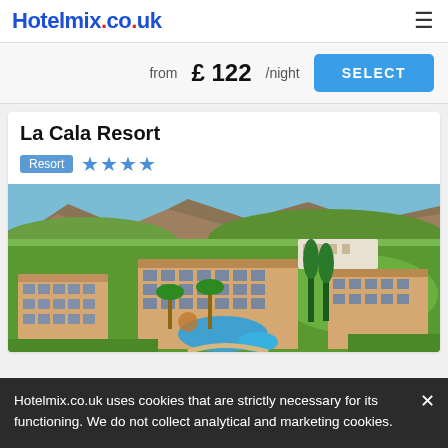Hotelmix.co.uk
from £ 122/night
SELECT
La Cala Resort
Resort ★★★★
[Figure (photo): Aerial view of La Cala Resort showing hotel buildings, swimming pool, palm trees, golf course with green fairways, and mountains in the background]
Hotelmix.co.uk uses cookies that are strictly necessary for its functioning. We do not collect analytical and marketing cookies.